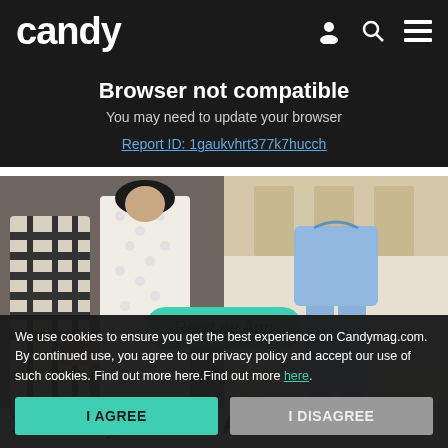candy
Browser not compatible
You may need to update your browser
Report ID: 1gaukvhrt377k7hucch
[Figure (photo): Two side-by-side photos: left shows women in black-and-white patterned and white lace outfits; right shows a person in a blue suit/pants in a decorated venue with flowers]
17 Pinay Celebs And Their Debut
We use cookies to ensure you get the best experience on Candymag.com. By continued use, you agree to our privacy policy and accept our use of such cookies. Find out more here.Find out more here.
I AGREE
I DISAGREE